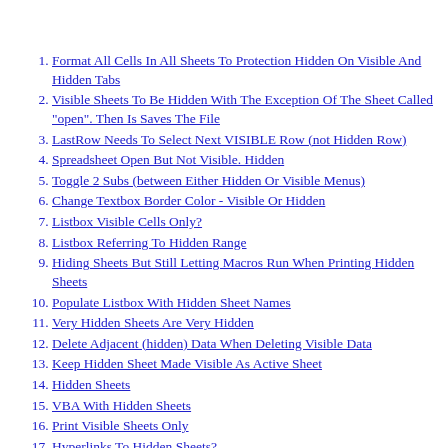Format All Cells In All Sheets To Protection Hidden On Visible And Hidden Tabs
Visible Sheets To Be Hidden With The Exception Of The Sheet Called "open". Then Is Saves The File
LastRow Needs To Select Next VISIBLE Row (not Hidden Row)
Spreadsheet Open But Not Visible. Hidden
Toggle 2 Subs (between Either Hidden Or Visible Menus)
Change Textbox Border Color - Visible Or Hidden
Listbox Visible Cells Only?
Listbox Referring To Hidden Range
Hiding Sheets But Still Letting Macros Run When Printing Hidden Sheets
Populate Listbox With Hidden Sheet Names
Very Hidden Sheets Are Very Hidden
Delete Adjacent (hidden) Data When Deleting Visible Data
Keep Hidden Sheet Made Visible As Active Sheet
Hidden Sheets
VBA With Hidden Sheets
Print Visible Sheets Only
Hyperlinks To Hidden Sheets?
Hidden Sheets Within An Workbook
Selecting Hidden Sheets